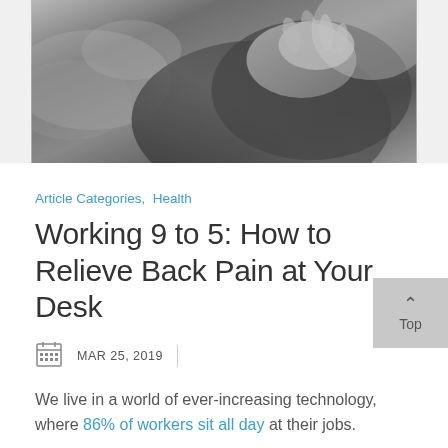[Figure (photo): Black and white photo of a person holding their back, suggesting back pain]
Article Categories, Health
Working 9 to 5: How to Relieve Back Pain at Your Desk
MAR 25, 2019
We live in a world of ever-increasing technology, where 86% of workers sit all day at their jobs.